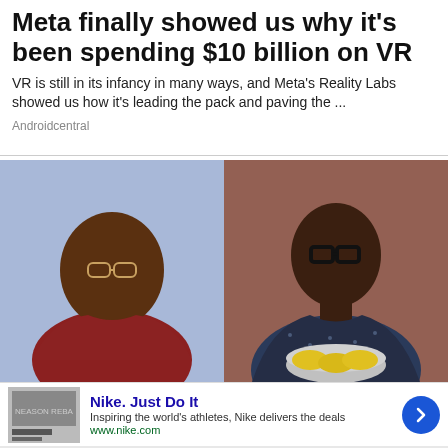Meta finally showed us why it's been spending $10 billion on VR
VR is still in its infancy in many ways, and Meta's Reality Labs showed us how it's leading the pack and paving the ...
Androidcentral
[Figure (photo): Side-by-side photos: left shows a larger man in a red shirt against a blue background; right shows a slimmer man in a dark patterned shirt wearing glasses, holding a pot with lemon slices, against a brick background.]
Nike. Just Do It
Inspiring the world's athletes, Nike delivers the deals
www.nike.com